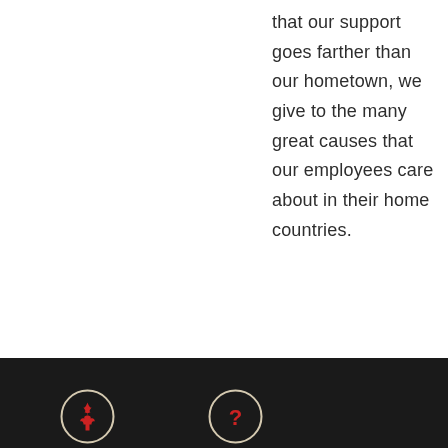that our support goes farther than our hometown, we give to the many great causes that our employees care about in their home countries.
[Figure (other): Dark footer bar with two circular icons — left icon shows a red maple leaf on dark background with cream border, right icon shows a question mark on dark background with cream border]